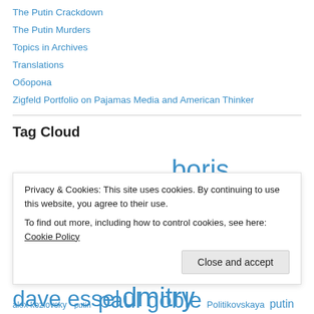The Putin Crackdown
The Putin Murders
Topics in Archives
Translations
Оборона
Zigfeld Portfolio on Pajamas Media and American Thinker
Tag Cloud
Anastasia Pavlyuchenkova barack obama boris nemtsov Boris Yeltsin bric chechnya china cold war cold war II dave essel dmitry medvedev
Privacy & Cookies: This site uses cookies. By continuing to use this website, you agree to their use.
To find out more, including how to control cookies, see here: Cookie Policy
Close and accept
paul goble Politikovskaya putin